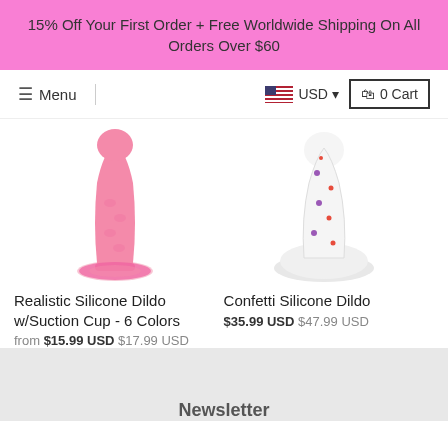15% Off Your First Order + Free Worldwide Shipping On All Orders Over $60
Menu | USD ▾ | 🛍 0 Cart
[Figure (photo): Pink realistic silicone dildo with suction cup]
Realistic Silicone Dildo w/Suction Cup - 6 Colors
from $15.99 USD $17.99 USD
[Figure (photo): White confetti silicone dildo with colorful dots]
Confetti Silicone Dildo
$35.99 USD $47.99 USD
Newsletter